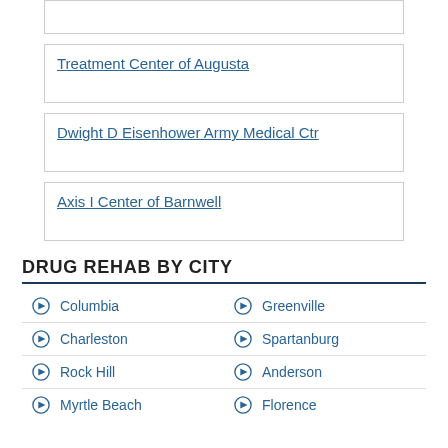Treatment Center of Augusta
Dwight D Eisenhower Army Medical Ctr
Axis I Center of Barnwell
DRUG REHAB BY CITY
Columbia
Greenville
Charleston
Spartanburg
Rock Hill
Anderson
Myrtle Beach
Florence